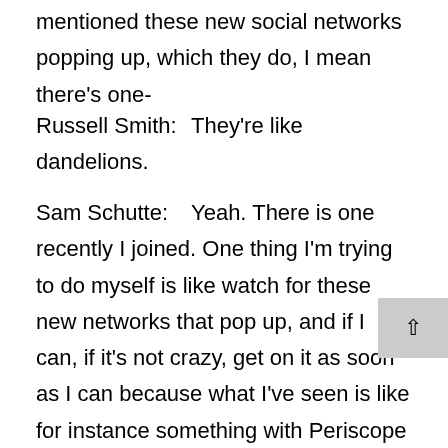mentioned these new social networks popping up, which they do, I mean there's one-
Russell Smith:        They're like dandelions.
Sam Schutte:          Yeah. There is one recently I joined. One thing I'm trying to do myself is like watch for these new networks that pop up, and if I can, if it's not crazy, get on it as soon as I can because what I've seen is like for instance something with Periscope or before Periscope, there was the real initial market leader was called Meerkat. They launched South by Southwest and they were live stream. It was amazing.